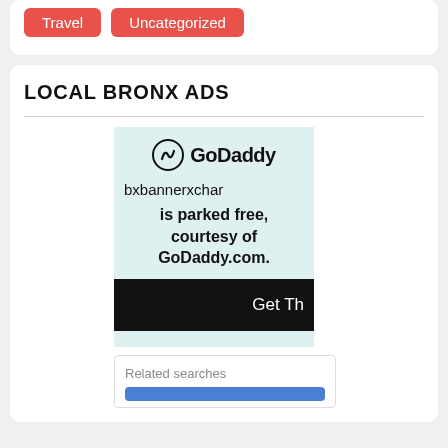Travel
Uncategorized
LOCAL BRONX ADS
[Figure (screenshot): GoDaddy parked domain advertisement showing GoDaddy logo, domain name 'bxbannerxchar', text 'is parked free, courtesy of GoDaddy.com.', black bar with 'Get Th' text, and a Related searches section at the bottom.]